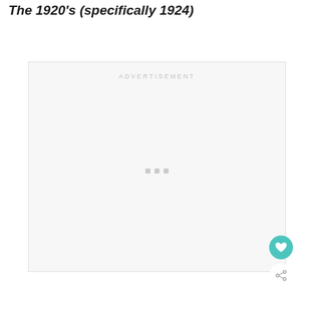The 1920's (specifically 1924)
[Figure (other): Advertisement placeholder box with 'ADVERTISEMENT' label at top and three small gray squares centered in the middle of the box. A teal heart button and share icon appear in the lower right corner.]